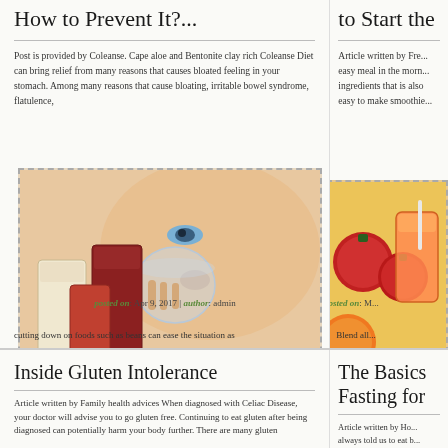How to Prevent It?...
Post is provided by Coleanse. Cape aloe and Bentonite clay rich Coleanse Diet can bring relief from many reasons that causes bloated feeling in your stomach. Among many reasons that cause bloating, irritable bowel syndrome, flatulence,
[Figure (photo): Woman drinking juice surrounded by colorful juice glasses with fruits]
posted on: Apr 9, 2017 | author: admin
cutting down on foods such as beans can ease the situation as
to Start the
Article written by Fre... easy meal in the morn... ingredients that is also easy to make smoothie...
[Figure (photo): Fruits and smoothie drinks]
posted on: M...
Blend all...
Inside Gluten Intolerance
Article written by Family health advices When diagnosed with Celiac Disease, your doctor will advise you to go gluten free. Continuing to eat gluten after being diagnosed can potentially harm your body further. There are many gluten
The Basics Fasting for
Article written by Ho... always told us to eat b... important meal of the... is always overtaken ti...